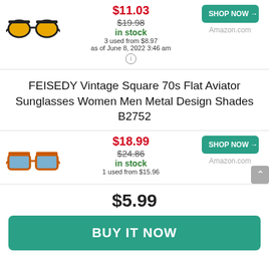[Figure (photo): Orange/yellow lens black-frame aviator sunglasses]
$11.03 / $19.98 / in stock / 3 used from $8.97 / as of June 8, 2022 3:46 am
SHOP NOW → / Amazon.com
FEISEDY Vintage Square 70s Flat Aviator Sunglasses Women Men Metal Design Shades B2752
[Figure (photo): Orange-frame blue-lens square aviator sunglasses]
$18.99 / $24.86 / in stock / 1 used from $15.96
SHOP NOW → / Amazon.com
$5.99
BUY IT NOW